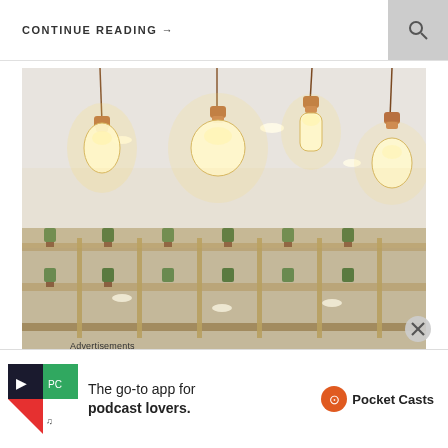CONTINUE READING →
[Figure (photo): Interior photo of hanging Edison/filament pendant light bulbs with copper/brass fixtures suspended from cords, against a white ceiling. Below the lights are wooden shelving units containing small potted plants arranged in a retail or cafe setting.]
Advertisements
[Figure (logo): Pocket Casts app advertisement showing app icon and text 'The go-to app for podcast lovers.' with Pocket Casts logo and name.]